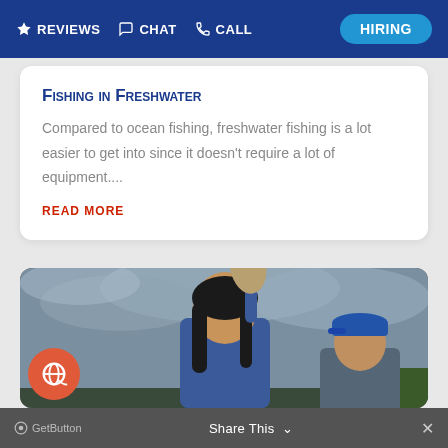REVIEWS  CHAT  CALL  HIRING
Fishing in Freshwater
Compared to ocean fishing, freshwater fishing is a lot easier to get into since it doesn't require a lot of equipment....
READ MORE
[Figure (photo): A woman holding up a large bass fish while smiling, with another person in a blue cap seated beside her. Overcast sky and green reeds in the background. Outdoor freshwater fishing scene.]
GetButton  Share This  ×